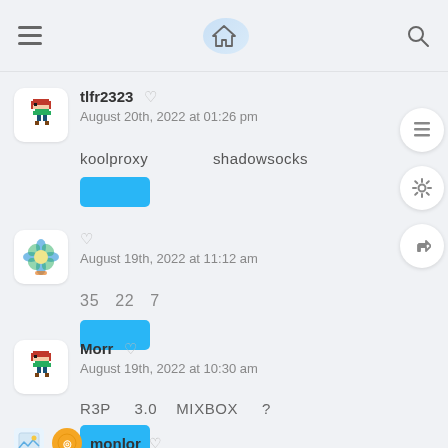Navigation bar with menu, home, and search icons
tlfr2323 ♡
August 20th, 2022 at 01:26 pm
koolproxy    shadowsocks
♡
August 19th, 2022 at 11:12 am
35  22  7
Morr ♡
August 19th, 2022 at 10:30 am
R3P    3.0    MIXBOX    ?
monlor ♡
August 19th, 2022 at 11:25 am